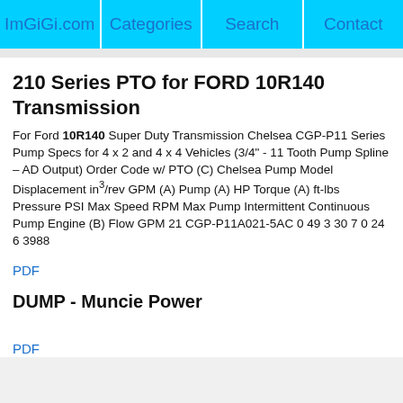ImGiGi.com | Categories | Search | Contact
210 Series PTO for FORD 10R140 Transmission
For Ford 10R140 Super Duty Transmission Chelsea CGP-P11 Series Pump Specs for 4 x 2 and 4 x 4 Vehicles (3/4" - 11 Tooth Pump Spline – AD Output) Order Code w/ PTO (C) Chelsea Pump Model Displacement in³/rev GPM (A) Pump (A) HP Torque (A) ft-lbs Pressure PSI Max Speed RPM Max Pump Intermittent Continuous Pump Engine (B) Flow GPM 21 CGP-P11A021-5AC 0 49 3 30 7 0 24 6 3988
PDF
DUMP - Muncie Power
PDF